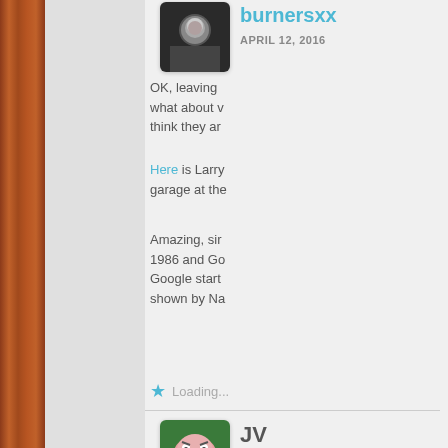[Figure (photo): Avatar photo of burnersxx user — person in dark background]
burnersxx
APRIL 12, 2016
OK, leaving what about v think they ar
Here is Larry garage at the
Amazing, sir 1986 and Go Google start shown by Na
Loading...
[Figure (illustration): Avatar icon of JV user — pink cartoon face on green background]
JV
APRIL 12, 2016
More than lik ass. Larry te lucidly and c don't believe